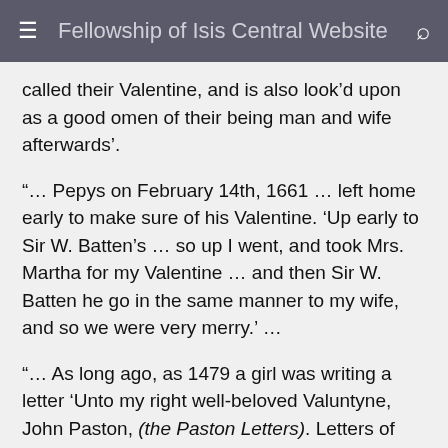Fellowship of Isis Central Website
called their Valentine, and is also look’d upon as a good omen of their being man and wife afterwards’.
“… Pepys on February 14th, 1661 … left home early to make sure of his Valentine. ‘Up early to Sir W. Batten’s … so up I went, and took Mrs. Martha for my Valentine … and then Sir W. Batten he go in the same manner to my wife, and so we were very merry.’ …
“… As long ago, as 1479 a girl was writing a letter ‘Unto my right well-beloved Valuntyne, John Paston, (the Paston Letters). Letters of this kind were written for the next three hundred years; and then there appeared in the February letter how what we